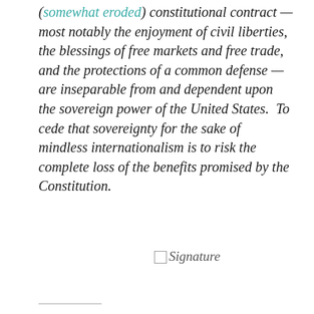(somewhat eroded) constitutional contract — most notably the enjoyment of civil liberties, the blessings of free markets and free trade, and the protections of a common defense — are inseparable from and dependent upon the sovereign power of the United States.  To cede that sovereignty for the sake of mindless internationalism is to risk the complete loss of the benefits promised by the Constitution.
[Figure (other): Signature image placeholder]